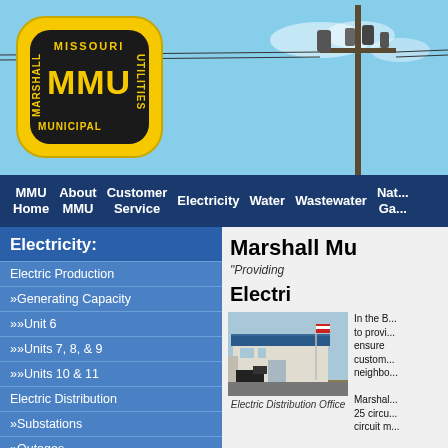[Figure (photo): MMU (Marshall Municipal Utilities) logo on yellow/black rounded badge with utility pole in background against blue sky]
MMU Home  About MMU  Customer Service  Electricity  Water  Wastewater  Nat... Ga...
Electricity:
Electric Production
»Generating Capacity
»»Unit 6
»»Units 7, 8, & 9
»»Units 10 & 11
Electric Distribution
»Substations
»Outages
»Tree Trimming
»Problem Report Form
Marshall Mu...
"Providing ..."
Electri...
[Figure (photo): Electric Distribution Office building - a large metal building with blue roof, flag pole, and parked vehicles]
Electric Distribution Office
In the B... to provi... ensure ... custom... neighbo... Marshall... 25 circu... circuit r...